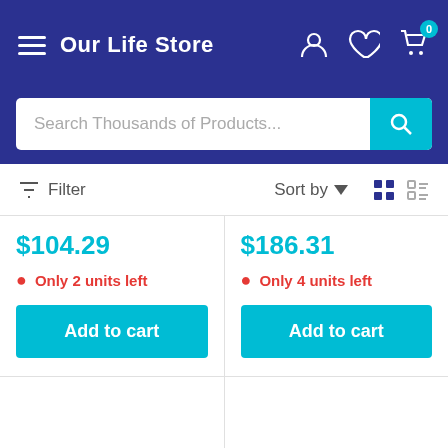Our Life Store
Search Thousands of Products...
Filter  Sort by
$104.29
Only 2 units left
Add to cart
$186.31
Only 4 units left
Add to cart